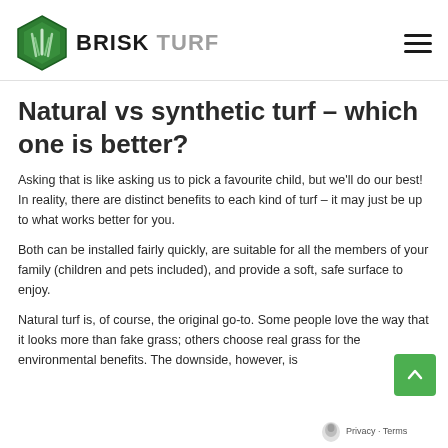BRISK TURF
Natural vs synthetic turf – which one is better?
Asking that is like asking us to pick a favourite child, but we'll do our best! In reality, there are distinct benefits to each kind of turf – it may just be up to what works better for you.
Both can be installed fairly quickly, are suitable for all the members of your family (children and pets included), and provide a soft, safe surface to enjoy.
Natural turf is, of course, the original go-to. Some people love the way that it looks more than fake grass; others choose real grass for the environmental benefits. The downside, however, is